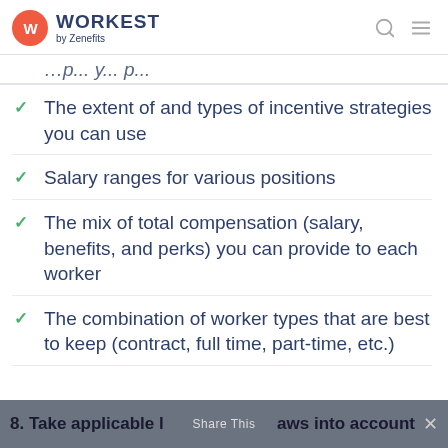WORKEST by Zenefits
The extent of and types of incentive strategies you can use
Salary ranges for various positions
The mix of total compensation (salary, benefits, and perks) you can provide to each worker
The combination of worker types that are best to keep (contract, full time, part-time, etc.)
8. Take applicable laws into account